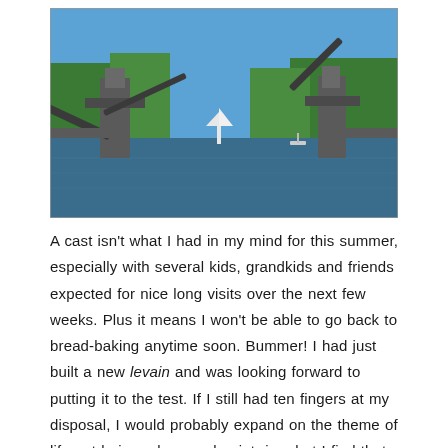[Figure (photo): A drawbridge (bascule bridge) raised open over a waterway on a sunny day, with boats on the water and green trees lining the banks.]
A cast isn't what I had in my mind for this summer, especially with several kids, grandkids and friends expected for nice long visits over the next few weeks. Plus it means I won't be able to go back to bread-baking anytime soon. Bummer! I had just built a new levain and was looking forward to putting it to the test. If I still had ten fingers at my disposal, I would probably expand on the theme of life not being a long and quiet river but I find that pecking at the keyboard with one hand is not conducive to flights of